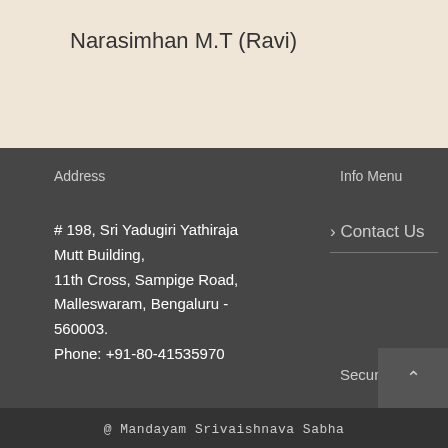Narasimhan M.T (Ravi)
Address
# 198, Sri Yadugiri Yathiraja Mutt Building,
11th Cross, Sampige Road,
Malleswaram, Bengaluru - 560003.
Phone: +91-80-41535970
Info Menu
> Contact Us
Secure
@ Mandayam Srivaishnava Sabha